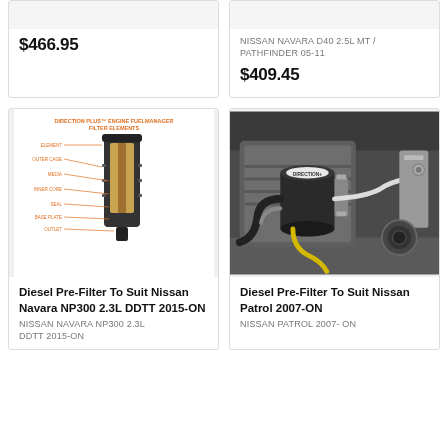$466.95
NISSAN NAVARA D40 2.5L MT / PATHFINDER 05-11
$409.45
[Figure (illustration): Cross-section diagram of a diesel pre-filter / engine fuelmanager filter element with orange annotation labels]
Diesel Pre-Filter To Suit Nissan Navara NP300 2.3L DDTT 2015-ON
NISSAN NAVARA NP300 2.3L DDTT 2015-ON
[Figure (photo): Photo of a diesel pre-filter installed in a vehicle engine bay, showing the filter canister with hoses and brackets]
Diesel Pre-Filter To Suit Nissan Patrol 2007-ON
NISSAN PATROL 2007- ON